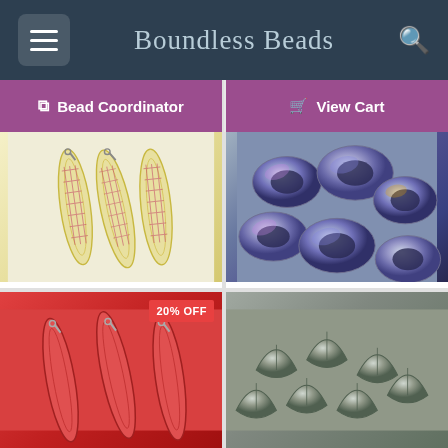Boundless Beads
Bead Coordinator
View Cart
[Figure (photo): Three yellow/cream elongated dagger-shaped glass beads with lattice pattern, peacock finish]
Jonquil 5x16mm glass peacock dagger bead
From £4.85
[Figure (photo): Clear spot peacock disc beads, round flat 17mm with iridescent purple/blue/silver finish, close-up cluster]
Clear Spot Peacock Disc 17mm Pressed Czech Glass Bead
From £3.74
[Figure (photo): Red elongated dagger glass beads, partial image, with 20% OFF badge]
[Figure (photo): Silver/grey pressed leaf-shaped glass beads, close-up cluster, partial image]